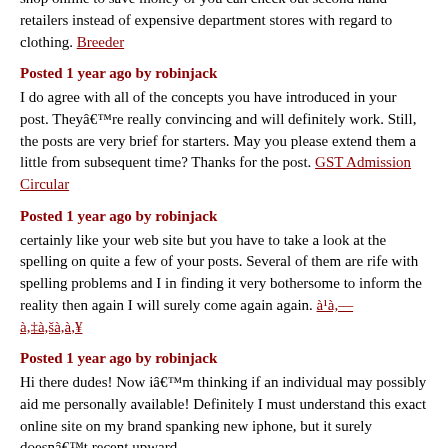shop online to save money or you can check out second hand retailers instead of expensive department stores with regard to clothing. Breeder
Posted 1 year ago by robinjack
I do agree with all of the concepts you have introduced in your post. They're really convincing and will definitely work. Still, the posts are very brief for starters. May you please extend them a little from subsequent time? Thanks for the post. GST Admission Circular
Posted 1 year ago by robinjack
certainly like your web site but you have to take a look at the spelling on quite a few of your posts. Several of them are rife with spelling problems and I in finding it very bothersome to inform the reality then again I will surely come again again. à¹à,— à,‡à,šà,à,¥
Posted 1 year ago by robinjack
Hi there dudes! Now iâ€™m thinking if an individual may possibly aid me personally available! Definitely I must understand this exact online site on my brand spanking new iphone, but it surely doesnâ€™t recent upward